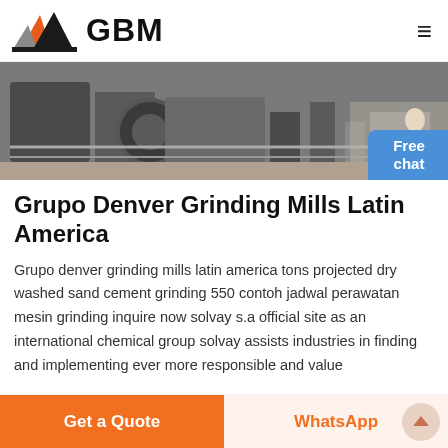[Figure (logo): GBM logo with mountain/triangle shapes in orange, gray, and black colors, followed by bold text GBM]
[Figure (photo): Industrial grinding machinery in a plant facility, black and white/sepia toned banner image]
Grupo Denver Grinding Mills Latin America
Grupo denver grinding mills latin america tons projected dry washed sand cement grinding 550 contoh jadwal perawatan mesin grinding inquire now solvay s.a official site as an international chemical group solvay assists industries in finding and implementing ever more responsible and value
Get a Quote
WhatsApp